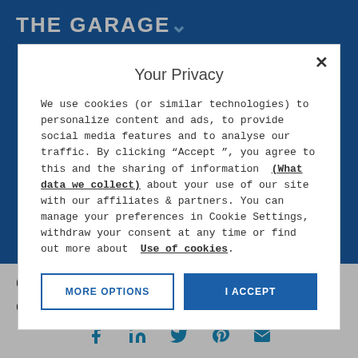THE GARAGE
Your Privacy
We use cookies (or similar technologies) to personalize content and ads, to provide social media features and to analyse our traffic. By clicking "Accept ", you agree to this and the sharing of information (What data we collect) about your use of our site with our affiliates & partners. You can manage your preferences in Cookie Settings, withdraw your consent at any time or find out more about Use of cookies.
MORE OPTIONS | I ACCEPT
delivered livestream and on-demand content to remote attendees, along with branded
f in twitter pinterest email